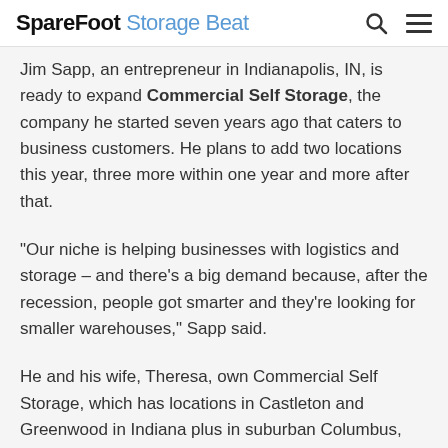SpareFoot Storage Beat
Jim Sapp, an entrepreneur in Indianapolis, IN, is ready to expand Commercial Self Storage, the company he started seven years ago that caters to business customers. He plans to add two locations this year, three more within one year and more after that.
“Our niche is helping businesses with logistics and storage – and there’s a big demand because, after the recession, people got smarter and they’re looking for smaller warehouses,” Sapp said.
He and his wife, Theresa, own Commercial Self Storage, which has locations in Castleton and Greenwood in Indiana plus in suburban Columbus, Ohio. Castleton was the first, opening in 2010 with two buildings; there are nine now. The Greenwood facility opened with seven buildings and 70,000 square feet and now has 30,000 square feet of